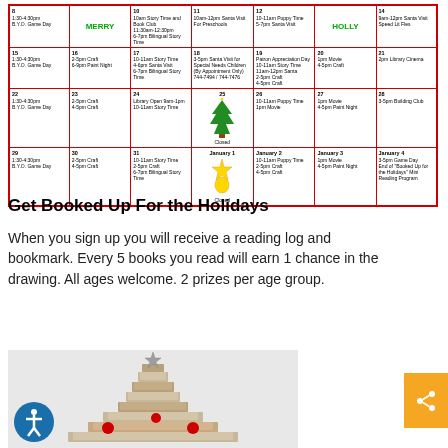| Sun | Mon | Tue | Wed | Thu | Fri | Sat |
| --- | --- | --- | --- | --- | --- | --- |
| 8
1:30-4:30pm
B.Y.O. Game Day | 9
MERRY | 10
10am Story Time and Book Club
11:30am-12:30pm
6:7pm Bilingual Story Time | 11
10am-12pm Santa Visit For Preschools | 12
10-11am Puppy Time
5-7pm Santa Visit | 13
HOLLY | 14
9am-12pm Santa Visit
Speed Lit Fles |
| 15
1:30-4:30pm
B.Y.O. Game Day | 16
2-5pm Craft
6-9pm Paint Night | 17
10-11am Story Time
4-6pm Santa Visit
6:7pm Bilingual Story Time | 18
3-5pm Santa Visit for Special Needs Children (By Appointment Only)
744-7494 / 744-7476 | 19
Patron Appreciation Day
10-11am Story Time
11am-12pm Santa
2-5pm Craft
4-5pm Craft | 20
1pm Movie
4-5pm Craft | 21
2pm Library Cinema |
| 22
1:30-4:30pm
B.Y.O. Game Day | 23
2-5pm Craft
4-5pm Craft | 24
Library Open 9am-1pm
10-11am Story Time | 25
Closed | 26
10-11am Puppy Time
1pm Movie | 27
1pm Movie
4-5pm Paint Night | 28
3-5pm Building Club |
| 29
1:30-4:30pm
B.Y.O. Game Day | 30
2-5pm Craft
4-5pm Craft | 31
10-11am Story Time
2-5pm Craft
6-7pm Bilingual Story Time | January 1
Closed | January 2
10-11am Puppy Time
2-5pm Craft
4-5pm Craft | January 3
1pm Movie
4-5pm Paint Night | January 4
3-5pm Game Day
End of 'Booked Up for the Holidays' Mini Reading Program |
Get Booked Up For the Holidays
When you sign up you will receive a reading log and bookmark. Every 5 books you read will earn 1 chance in the drawing. All ages welcome. 2 prizes per age group.
[Figure (photo): Stack of books arranged in a Christmas tree shape with a star on top and red ornaments, on a light background.]